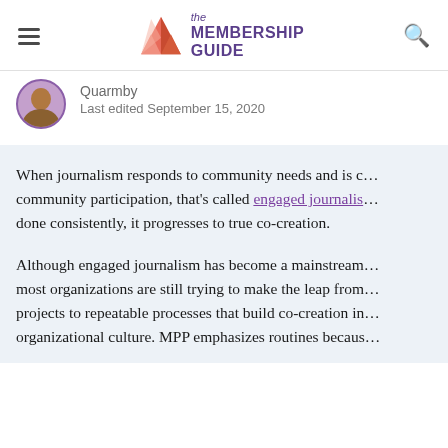the MEMBERSHIP GUIDE
Quarmby
Last edited September 15, 2020
When journalism responds to community needs and is co-created through community participation, that's called engaged journalism. When done consistently, it progresses to true co-creation.
Although engaged journalism has become a mainstream idea, most organizations are still trying to make the leap from one-off projects to repeatable processes that build co-creation into organizational culture. MPP emphasizes routines because